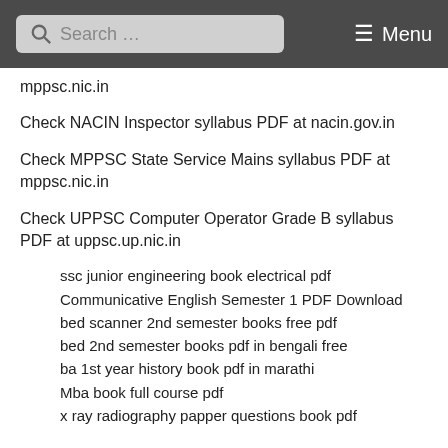Search ... Menu
mppsc.nic.in
Check NACIN Inspector syllabus PDF at nacin.gov.in
Check MPPSC State Service Mains syllabus PDF at mppsc.nic.in
Check UPPSC Computer Operator Grade B syllabus PDF at uppsc.up.nic.in
ssc junior engineering book electrical pdf
Communicative English Semester 1 PDF Download
bed scanner 2nd semester books free pdf
bed 2nd semester books pdf in bengali free
ba 1st year history book pdf in marathi
Mba book full course pdf
x ray radiography papper questions book pdf